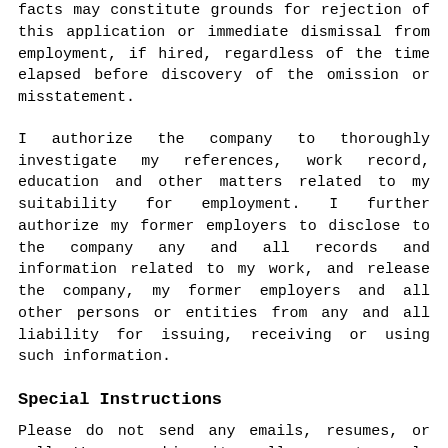facts may constitute grounds for rejection of this application or immediate dismissal from employment, if hired, regardless of the time elapsed before discovery of the omission or misstatement.
I authorize the company to thoroughly investigate my references, work record, education and other matters related to my suitability for employment. I further authorize my former employers to disclose to the company any and all records and information related to my work, and release the company, my former employers and all other persons or entities from any and all liability for issuing, receiving or using such information.
Special Instructions
Please do not send any emails, resumes, or call. We are making it really easy to apply for this position.